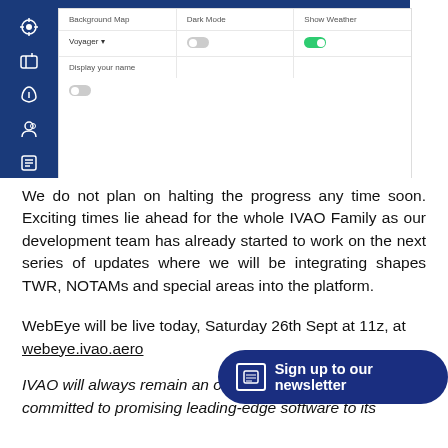[Figure (screenshot): UI settings panel screenshot showing Background Map (Voyager), Dark Mode (off toggle), Show Weather (on toggle, green), and Display your name (off toggle) options. Left sidebar is dark navy blue with icons.]
We do not plan on halting the progress any time soon. Exciting times lie ahead for the whole IVAO Family as our development team has already started to work on the next series of updates where we will be integrating shapes TWR, NOTAMs and special areas into the platform.
WebEye will be live today, Saturday 26th Sept at 11z, at webeye.ivao.aero
IVAO will always remain an organisation that is fully committed to promising leading-edge software to its